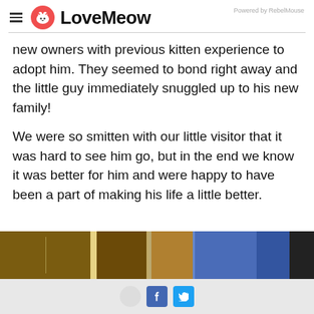LoveMeow — Powered by RebelMouse
new owners with previous kitten experience to adopt him. They seemed to bond right away and the little guy immediately snuggled up to his new family!
We were so smitten with our little visitor that it was hard to see him go, but in the end we know it was better for him and were happy to have been a part of making his life a little better.
[Figure (photo): Bottom portion of a photo showing a surface (possibly cardboard/wood) on the left and denim jeans with a dark chair/object on the right, with social sharing icons overlaid at the bottom (Facebook and Twitter buttons visible).]